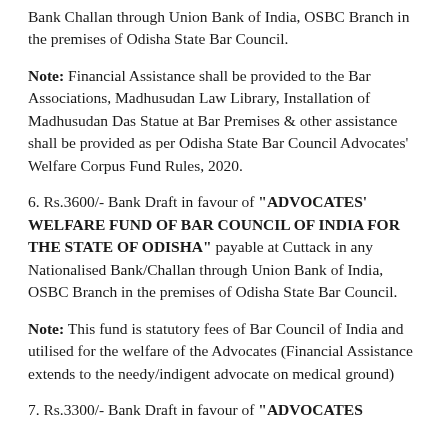Bank Challan through Union Bank of India, OSBC Branch in the premises of Odisha State Bar Council.
Note: Financial Assistance shall be provided to the Bar Associations, Madhusudan Law Library, Installation of Madhusudan Das Statue at Bar Premises & other assistance shall be provided as per Odisha State Bar Council Advocates' Welfare Corpus Fund Rules, 2020.
6. Rs.3600/- Bank Draft in favour of "ADVOCATES' WELFARE FUND OF BAR COUNCIL OF INDIA FOR THE STATE OF ODISHA" payable at Cuttack in any Nationalised Bank/Challan through Union Bank of India, OSBC Branch in the premises of Odisha State Bar Council.
Note: This fund is statutory fees of Bar Council of India and utilised for the welfare of the Advocates (Financial Assistance extends to the needy/indigent advocate on medical ground)
7. Rs.3300/- Bank Draft in favour of "ADVOCATES